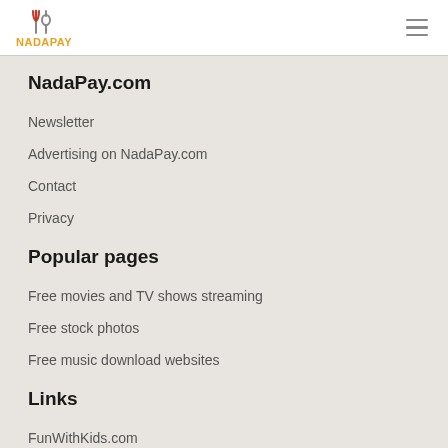NADAPAY
NadaPay.com
Newsletter
Advertising on NadaPay.com
Contact
Privacy
Popular pages
Free movies and TV shows streaming
Free stock photos
Free music download websites
Links
FunWithKids.com